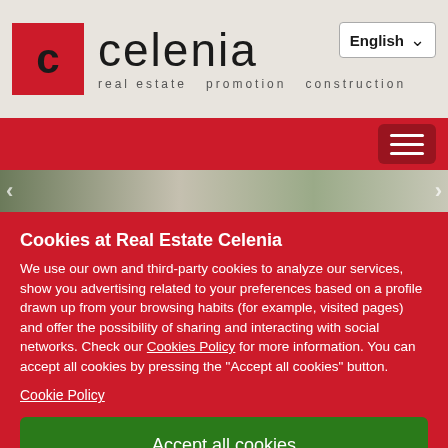[Figure (logo): Celenia real estate logo with red square containing 'c', company name 'celenia' and tagline 'real estate promotion construction']
English
[Figure (screenshot): Red navigation bar with hamburger menu button on the right]
[Figure (photo): Partial hero image strip showing building/property exterior]
Cookies at Real Estate Celenia
We use our own and third-party cookies to analyze our services, show you advertising related to your preferences based on a profile drawn up from your browsing habits (for example, visited pages) and offer the possibility of sharing and interacting with social networks. Check our Cookies Policy for more information. You can accept all cookies by pressing the "Accept all cookies" button.
Cookie Policy
Accept all cookies
Accept only essential cookies